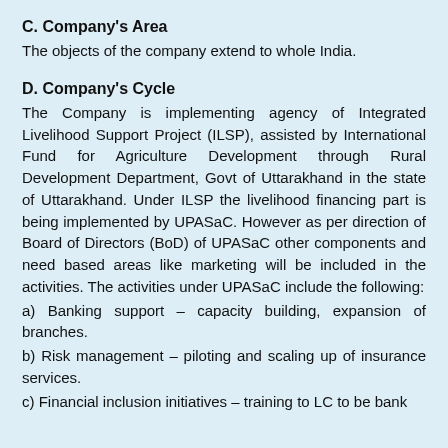C. Company's Area
The objects of the company extend to whole India.
D. Company's Cycle
The Company is implementing agency of Integrated Livelihood Support Project (ILSP), assisted by International Fund for Agriculture Development through Rural Development Department, Govt of Uttarakhand in the state of Uttarakhand. Under ILSP the livelihood financing part is being implemented by UPASaC. However as per direction of Board of Directors (BoD) of UPASaC other components and need based areas like marketing will be included in the activities. The activities under UPASaC include the following:
a)  Banking support – capacity building, expansion of branches.
b) Risk management – piloting and scaling up of insurance services.
c) Financial inclusion initiatives – training to LC to be bank